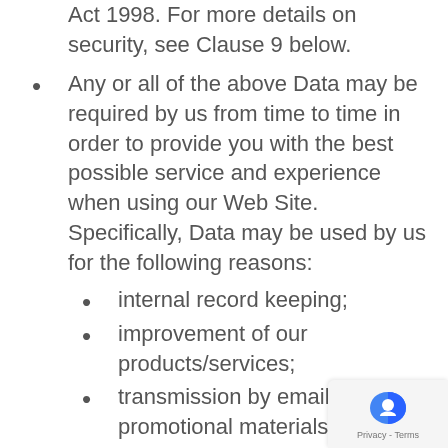Act 1998. For more details on security, see Clause 9 below.
Any or all of the above Data may be required by us from time to time in order to provide you with the best possible service and experience when using our Web Site. Specifically, Data may be used by us for the following reasons:
internal record keeping;
improvement of our products/services;
transmission by email of promotional materials that may be of interest to you;
contact for market research purposes which may be done using email, telephone, fax or